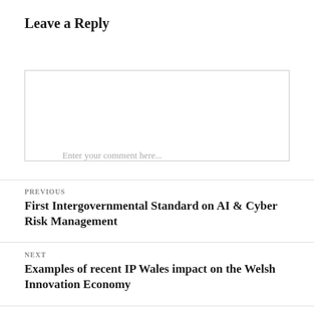Leave a Reply
Enter your comment here...
PREVIOUS
First Intergovernmental Standard on AI & Cyber Risk Management
NEXT
Examples of recent IP Wales impact on the Welsh Innovation Economy